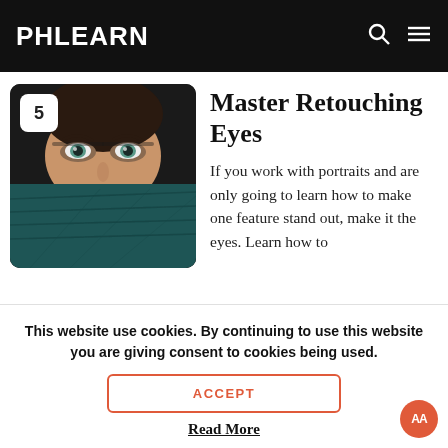PHLEARN
[Figure (photo): Close-up portrait of a woman with striking blue-green eyes, lower half of face covered with dark teal fabric, number 5 badge in top-left corner]
Master Retouching Eyes
If you work with portraits and are only going to learn how to make one feature stand out, make it the eyes. Learn how to
This website use cookies. By continuing to use this website you are giving consent to cookies being used.
ACCEPT
Read More